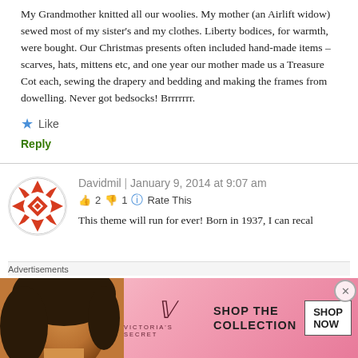My Grandmother knitted all our woolies. My mother (an Airlift widow) sewed most of my sister's and my clothes. Liberty bodices, for warmth, were bought. Our Christmas presents often included hand-made items – scarves, hats, mittens etc, and one year our mother made us a Treasure Cot each, sewing the drapery and bedding and making the frames from dowelling. Never got bedsocks! Brrrrrrr.
★ Like
Reply
[Figure (illustration): Red and white snowflake/geometric pattern avatar icon in a circle]
Davidmil | January 9, 2014 at 9:07 am
👍 2 👎 1 ℹ Rate This
This theme will run for ever! Born in 1937, I can recal
Advertisements
[Figure (photo): Victoria's Secret advertisement banner with woman model, VS logo, SHOP THE COLLECTION text, and SHOP NOW button]